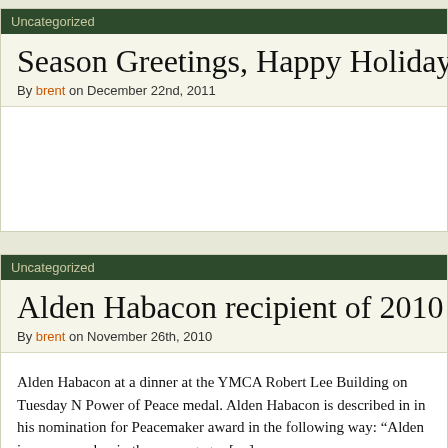Uncategorized
Season Greetings, Happy Holidays and Pea
By brent on December 22nd, 2011
Uncategorized
Alden Habacon recipient of 2010 Power of
By brent on November 26th, 2010
Alden Habacon at a dinner at the YMCA Robert Lee Building on Tuesday N Power of Peace medal. Alden Habacon is described in in his nomination for Peacemaker award in the following way: “Alden is a peacemaker in the mo engages […]